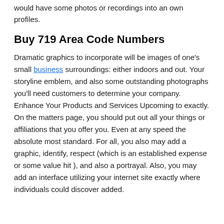would have some photos or recordings into an own profiles.
Buy 719 Area Code Numbers
Dramatic graphics to incorporate will be images of one's small business surroundings: either indoors and out. Your storyline emblem, and also some outstanding photographs you'll need customers to determine your company. Enhance Your Products and Services Upcoming to exactly. On the matters page, you should put out all your things or affiliations that you offer you. Even at any speed the absolute most standard. For all, you also may add a graphic, identify, respect (which is an established expense or some value hit ), and also a portrayal. Also, you may add an interface utilizing your internet site exactly where individuals could discover added.